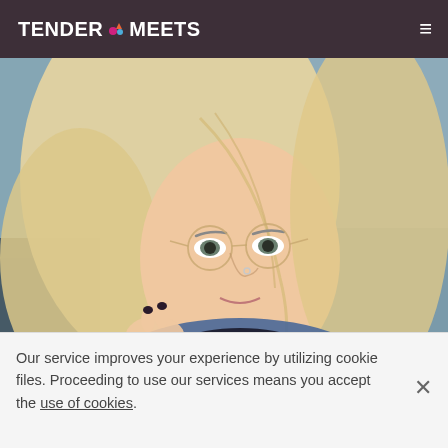TENDER MEETS
[Figure (photo): Young blonde woman with round glasses taking a selfie in a car, wearing a denim jacket and black top with a necklace]
Connect With More Soulmates Online
Our service improves your experience by utilizing cookie files. Proceeding to use our services means you accept the use of cookies.